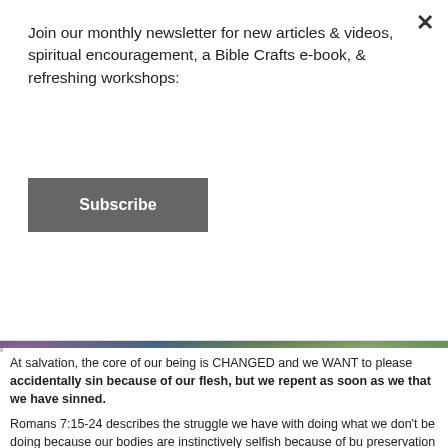Join our monthly newsletter for new articles & videos, spiritual encouragement, a Bible Crafts e-book, & refreshing workshops:
Subscribe
[Figure (photo): Person in purple/maroon top and blue jeans sitting on a wooden bench outdoors, reading or holding papers, with green garden/yard in background]
At salvation, the core of our being is CHANGED and we WANT to please accidentally sin because of our flesh, but we repent as soon as we that we have sinned.
Romans 7:15-24 describes the struggle we have with doing what we don't be doing because our bodies are instinctively selfish because of bu preservation and wanting to pamper ourselves and have comfortable live pleasure. We instinctively go after the things of the world as long as we do our greatest delight in Jesus. If we delight in Christ more than anything easy to walk by the Spirit. All you do is yield and abide. It's not self-e yoke is easy and His burden is light. That means we don't feel the burden, if Yielding feels free and fully grace and free to walk by the love of